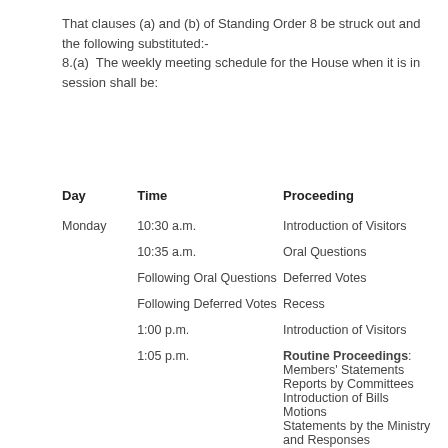That clauses (a) and (b) of Standing Order 8 be struck out and the following substituted:- 8.(a)  The weekly meeting schedule for the House when it is in session shall be:
| Day | Time | Proceeding |
| --- | --- | --- |
| Monday | 10:30 a.m. | Introduction of Visitors |
|  | 10:35 a.m. | Oral Questions |
|  | Following Oral Questions | Deferred Votes |
|  | Following Deferred Votes | Recess |
|  | 1:00 p.m. | Introduction of Visitors |
|  | 1:05 p.m. | Routine Proceedings:
Members' Statements
Reports by Committees
Introduction of Bills
Motions
Statements by the Ministry and Responses
Petitions |